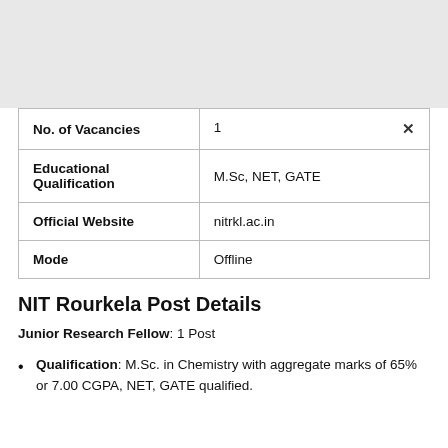| Field | Value |
| --- | --- |
| No. of Vacancies | 1 |
| Educational Qualification | M.Sc, NET, GATE |
| Official Website | nitrkl.ac.in |
| Mode | Offline |
NIT Rourkela Post Details
Junior Research Fellow: 1 Post
Qualification: M.Sc. in Chemistry with aggregate marks of 65% or 7.00 CGPA, NET, GATE qualified.